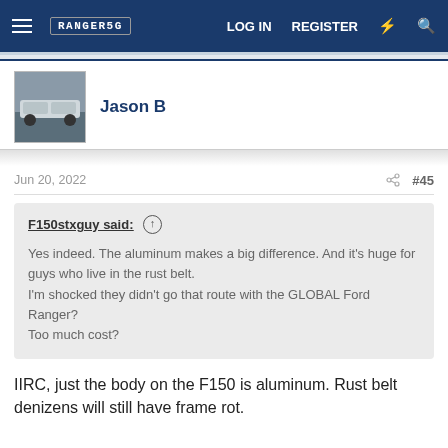RANGER50 | LOG IN  REGISTER
Jason B
Jun 20, 2022  #45
F150stxguy said: ↑

Yes indeed. The aluminum makes a big difference. And it's huge for guys who live in the rust belt.
I'm shocked they didn't go that route with the GLOBAL Ford Ranger?
Too much cost?
IIRC, just the body on the F150 is aluminum. Rust belt denizens will still have frame rot.